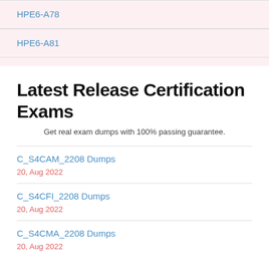HPE6-A78
HPE6-A81
Latest Release Certification Exams
Get real exam dumps with 100% passing guarantee.
C_S4CAM_2208 Dumps
20, Aug 2022
C_S4CFI_2208 Dumps
20, Aug 2022
C_S4CMA_2208 Dumps
20, Aug 2022